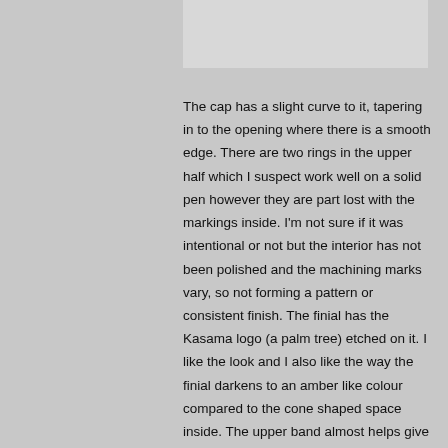[Figure (photo): Partial view of a pen cap or pen component — light gray rectangular image placeholder at top right of page]
The cap has a slight curve to it, tapering in to the opening where there is a smooth edge. There are two rings in the upper half which I suspect work well on a solid pen however they are part lost with the markings inside. I'm not sure if it was intentional or not but the interior has not been polished and the machining marks vary, so not forming a pattern or consistent finish. The finial has the Kasama logo (a palm tree) etched on it. I like the look and I also like the way the finial darkens to an amber like colour compared to the cone shaped space inside. The upper band almost helps give the impression that this part was made separately and slid/screwed on as is so often the case with many pens out there. The edges of the palm, especially where the branches meet, are sharp and it is a shame that this could not be polished down. I'm actually not sure if this is possible without ruining the